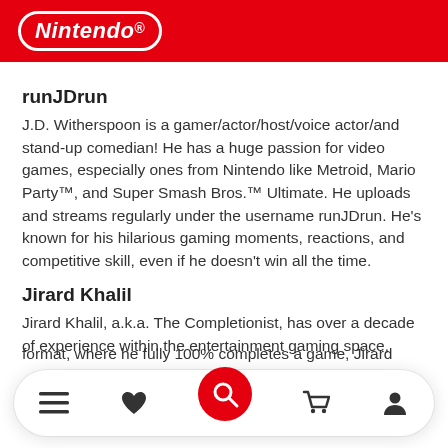Nintendo
runJDrun
J.D. Witherspoon is a gamer/actor/host/voice actor/and stand-up comedian! He has a huge passion for video games, especially ones from Nintendo like Metroid, Mario Party™, and Super Smash Bros.™ Ultimate. He uploads and streams regularly under the username runJDrun. He's known for his hilarious gaming moments, reactions, and competitive skill, even if he doesn't win all the time.
Jirard Khalil
Jirard Khalil, a.k.a. The Completionist, has over a decade of experience within the entertainment gaming space,
format, where he fully 100% completes a game, Jirard